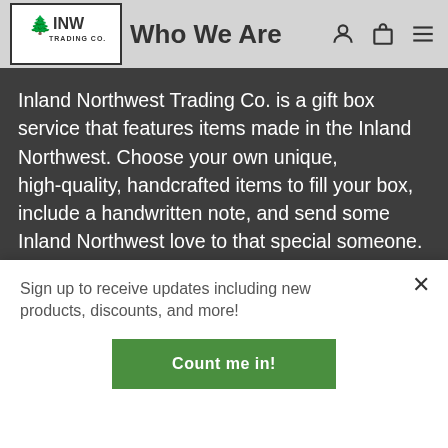[Figure (logo): INW Trading Co. logo with pine trees icon inside a rectangular border]
Who We Are
Inland Northwest Trading Co. is a gift box service that features items made in the Inland Northwest. Choose your own unique, high-quality, handcrafted items to fill your box, include a handwritten note, and send some Inland Northwest love to that special someone.
Sign up to receive updates including new products, discounts, and more!
Count me in!